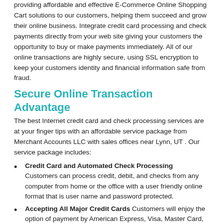providing affordable and effective E-Commerce Online Shopping Cart solutions to our customers, helping them succeed and grow their online business. Integrate credit card processing and check payments directly from your web site giving your customers the opportunity to buy or make payments immediately. All of our online transactions are highly secure, using SSL encryption to keep your customers identity and financial information safe from fraud.
Secure Online Transaction Advantage
The best Internet credit card and check processing services are at your finger tips with an affordable service package from Merchant Accounts LLC with sales offices near Lynn, UT . Our service package includes:
Credit Card and Automated Check Processing — Customers can process credit, debit, and checks from any computer from home or the office with a user friendly online format that is user name and password protected.
Accepting All Major Credit Cards — Customers will enjoy the option of payment by American Express, Visa, Master Card, Discover Card and many more credit purchasing options from your web site.
Accepting Business and Personal Checks — For customers